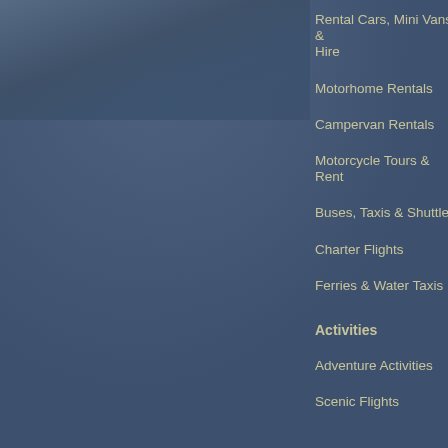[Figure (photo): Dark blue-grey sky/landscape photo occupying the upper-left portion of the page]
Rental Cars, Mini Vans & Hire
Motorhome Rentals
Campervan Rentals
Motorcycle Tours & Rent
Buses, Taxis & Shuttles
Charter Flights
Ferries & Water Taxis
Activities
Adventure Activities
Scenic Flights